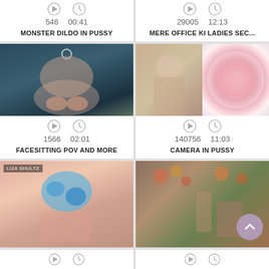[Figure (screenshot): Top partial row: two video cards. Left card shows stats 546 views, 00:41 duration, title MONSTER DILDO IN PUSSY. Right card shows stats 29005 views, 12:13 duration, title MERE OFFICE KI LADIES SEC...]
[Figure (photo): Thumbnail image of a woman on a bed, webcam style, teal tinted]
[Figure (photo): Thumbnail split image: woman posing on left, close-up medical/body view on right]
1566  02:01
FACESITTING POV AND MORE
140756  11:03
CAMERA IN PUSSY
[Figure (photo): Thumbnail of blue toy, overlay text LIZA SHULTZ]
[Figure (photo): Thumbnail of couple on floral bedding scene]
[Figure (screenshot): Bottom partial row showing play and clock icons for two more video cards]